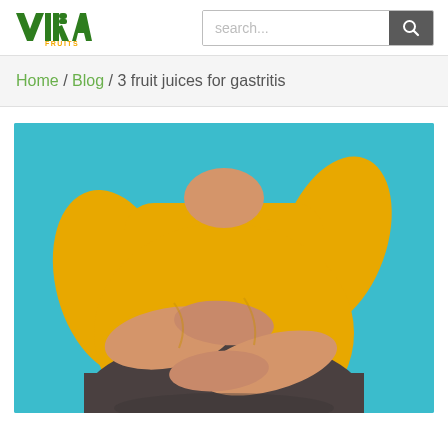[Figure (logo): VIRA FRUITS logo in green with orange FRUITS text]
[Figure (other): Search bar with text input and search button]
Home / Blog / 3 fruit juices for gastritis
[Figure (photo): Person in yellow shirt holding their stomach with both hands, suggesting gastritis/stomach pain, against a teal/cyan background]